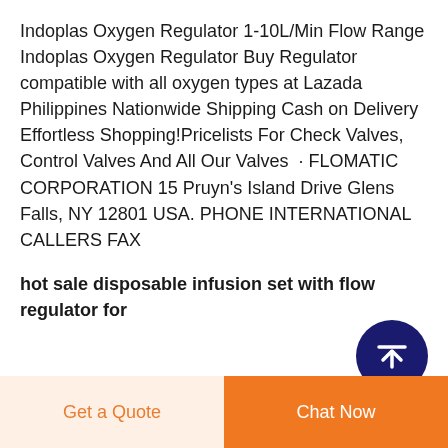Indoplas Oxygen Regulator 1-10L/Min Flow Range Indoplas Oxygen Regulator Buy Regulator compatible with all oxygen types at Lazada Philippines Nationwide Shipping Cash on Delivery Effortless Shopping!Pricelists For Check Valves, Control Valves And All Our Valves · FLOMATIC CORPORATION 15 Pruyn's Island Drive Glens Falls, NY 12801 USA. PHONE INTERNATIONAL CALLERS FAX
hot sale disposable infusion set with flow regulator for
[Figure (other): Dark blue circular scroll-to-top button with upward arrow icon]
Get a Quote
Chat Now